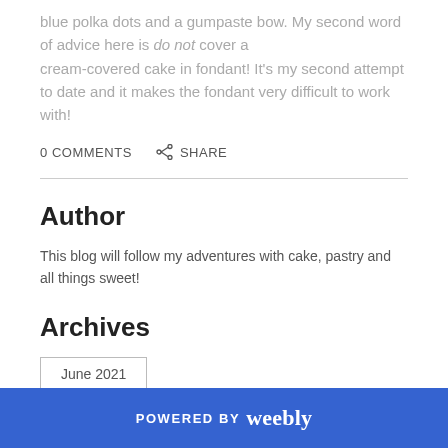blue polka dots and a gumpaste bow. My second word of advice here is do not cover a cream-covered cake in fondant! It's my second attempt to date and it makes the fondant very difficult to work with!
0 COMMENTS   SHARE
Author
This blog will follow my adventures with cake, pastry and all things sweet!
Archives
June 2021
POWERED BY weebly